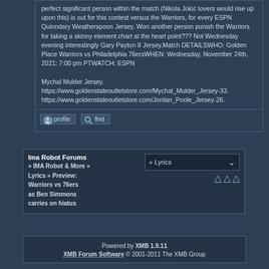perfect significant person within the match (Nikola Jokic lovers would rise up upon this) is out for this contest versus the Warriors, for every ESPN Quinndary Weatherspoon Jersey. Won another person punish the Warriors for taking a skinny element chart at the heart point??? Not Wednesday evening interestingly Gary Payton II Jersey.Match DETAILSWHO: Golden Place Warriors vs Philadelphia 76ersWHEN: Wednesday, November 24th, 2021; 7:00 pm PTWATCH: ESPN

Mychal Mulder Jersey. https://www.goldenstateoutletstore.com/Mychal_Mulder_Jersey-33. https://www.goldenstateoutletstore.com/Jordan_Poole_Jersey-26.
[Figure (other): Forum post action buttons: profile icon button and find icon button]
Ima Robot Forums » IMA Robot & More » Lyrics » Preview: Warriors vs 76ers as Ben Simmons carries on hiatus
» Lyrics
Powered by XMB 1.9.11
XMB Forum Software © 2001-2011 The XMB Group